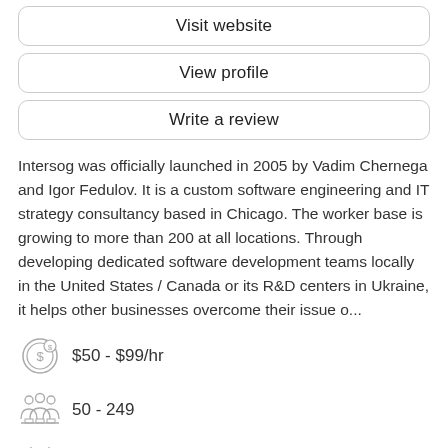Visit website
View profile
Write a review
Intersog was officially launched in 2005 by Vadim Chernega and Igor Fedulov. It is a custom software engineering and IT strategy consultancy based in Chicago. The worker base is growing to more than 200 at all locations. Through developing dedicated software development teams locally in the United States / Canada or its R&D centers in Ukraine, it helps other businesses overcome their issue o...
$50 - $99/hr
50 - 249
2005
Los Angeles